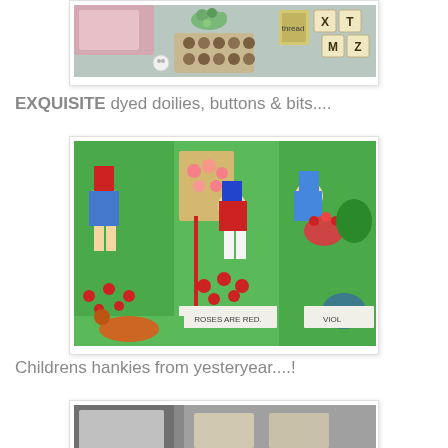[Figure (photo): Top photo partially cropped showing craft items including buttons, Scrabble tiles (X, T, M, Z), and decorated items on a teal/green surface]
EXQUISITE dyed doilies, buttons & bits....
[Figure (photo): Colorful children's fabric/hankie showing illustrated children in a garden with text 'ROSES ARE RED' and 'VIOL' visible, with pink heart-shaped buttons on top]
Childrens hankies from yesteryear....!
[Figure (photo): Third photo partially cropped at bottom of page showing vintage items]